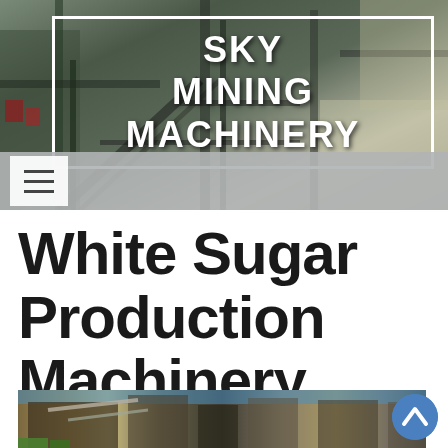[Figure (photo): Aerial/overhead view of a mining or industrial processing plant with machinery, conveyors, and structures. Dark metallic industrial equipment against lighter background.]
SKY MINING MACHINERY
[Figure (screenshot): Hamburger menu icon (three horizontal lines) on a white/light background, part of a mobile navigation header.]
White Sugar Production Machinery
[Figure (photo): Industrial sugar production or mineral processing plant showing large industrial machinery, conveyors, silos and structural steel against a blue sky.]